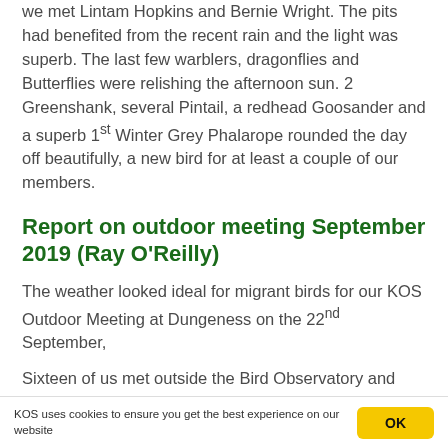we met Lintam Hopkins and Bernie Wright. The pits had benefited from the recent rain and the light was superb. The last few warblers, dragonflies and Butterflies were relishing the afternoon sun. 2 Greenshank, several Pintail, a redhead Goosander and a superb 1st Winter Grey Phalarope rounded the day off beautifully, a new bird for at least a couple of our members.
Report on outdoor meeting September 2019 (Ray O'Reilly)
The weather looked ideal for migrant birds for our KOS Outdoor Meeting at Dungeness on the 22nd September,
Sixteen of us met outside the Bird Observatory and ventured out into the Trapping Area around 8am we then walked up The Pilot Path before swinging round close to the Power Station perimeter fence and finally via the most
KOS uses cookies to ensure you get the best experience on our website